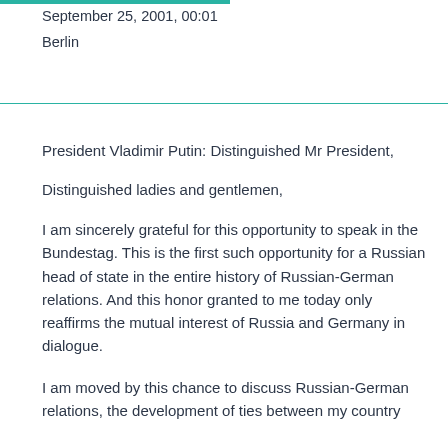September 25, 2001, 00:01
Berlin
President Vladimir Putin: Distinguished Mr President,
Distinguished ladies and gentlemen,
I am sincerely grateful for this opportunity to speak in the Bundestag. This is the first such opportunity for a Russian head of state in the entire history of Russian-German relations. And this honor granted to me today only reaffirms the mutual interest of Russia and Germany in dialogue.
I am moved by this chance to discuss Russian-German relations, the development of ties between my country